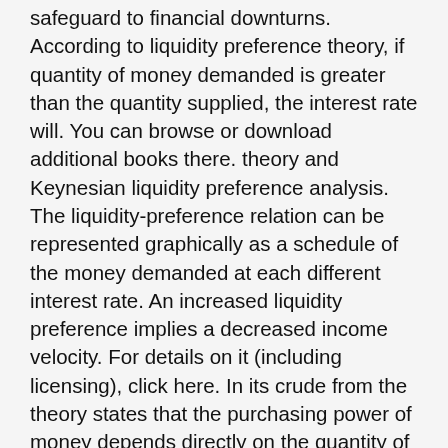safeguard to financial downturns. According to liquidity preference theory, if quantity of money demanded is greater than the quantity supplied, the interest rate will. You can browse or download additional books there. theory and Keynesian liquidity preference analysis. The liquidity-preference relation can be represented graphically as a schedule of the money demanded at each different interest rate. An increased liquidity preference implies a decreased income velocity. For details on it (including licensing), click here. In its crude from the theory states that the purchasing power of money depends directly on the quantity of money. Moreover, the opportunity cost of holding money to make transactions or as a precaution against shocks is low when interest rates are low, so people will hold more money and fewer bonds when interest rates are low. The Liquidity Preference Theory says that the demand for money is not to borrow money but the desire to remain liquid. In its crude from the theory states that the purchasing power of money depends directly on the quantity of money. The validity of this simple quantity